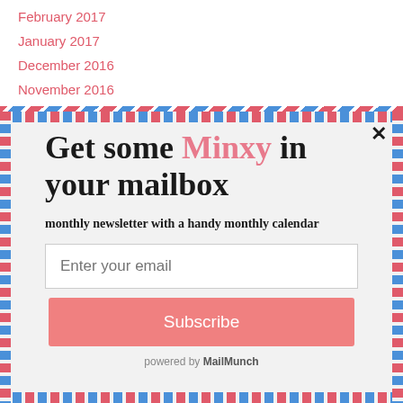February 2017
January 2017
December 2016
November 2016
Get some Minxy in your mailbox
monthly newsletter with a handy monthly calendar
Enter your email
Subscribe
powered by MailMunch